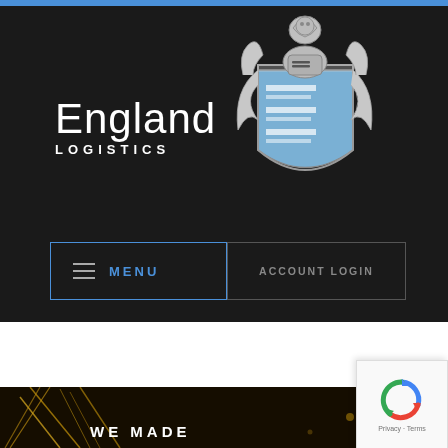[Figure (logo): England Logistics company logo with heraldic crest/coat of arms on dark background]
MENU
ACCOUNT LOGIN
WE MADE
[Figure (other): reCAPTCHA widget with Privacy and Terms links]